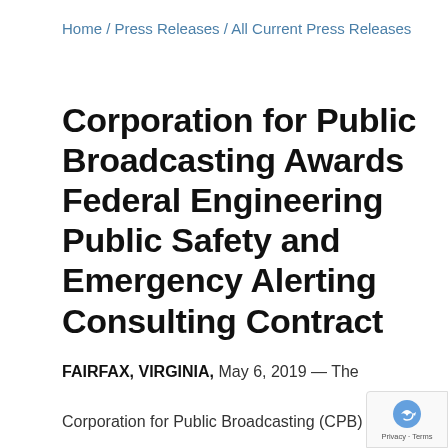Home / Press Releases / All Current Press Releases
Corporation for Public Broadcasting Awards Federal Engineering Public Safety and Emergency Alerting Consulting Contract
FAIRFAX, VIRGINIA, May 6, 2019 — The Corporation for Public Broadcasting (CPB) has awarded Federal Engineering, Inc. (FE) a contract to review current and future ways public media